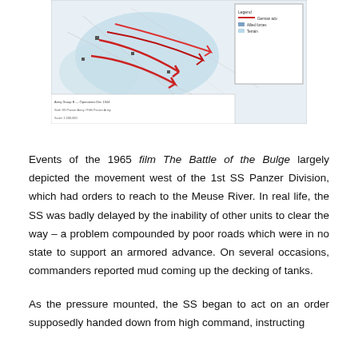[Figure (map): Military map showing the Battle of the Bulge troop movements, with red arrows indicating German advances and blue/teal areas showing Allied positions. Includes a legend and annotations.]
Events of the 1965 film The Battle of the Bulge largely depicted the movement west of the 1st SS Panzer Division, which had orders to reach to the Meuse River. In real life, the SS was badly delayed by the inability of other units to clear the way – a problem compounded by poor roads which were in no state to support an armored advance. On several occasions, commanders reported mud coming up the decking of tanks.
As the pressure mounted, the SS began to act on an order supposedly handed down from high command, instructing